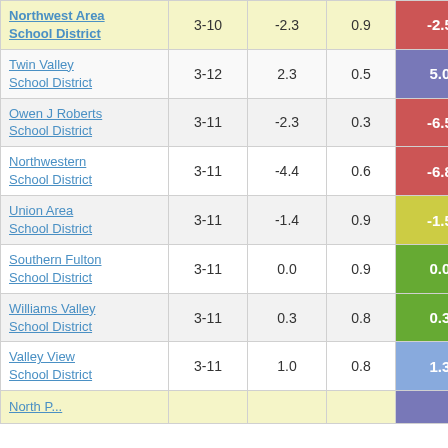| District | Grades | Col3 | Col4 | Score |
| --- | --- | --- | --- | --- |
| Northwest Area School District | 3-10 | -2.3 | 0.9 | -2.59 |
| Twin Valley School District | 3-12 | 2.3 | 0.5 | 5.04 |
| Owen J Roberts School District | 3-11 | -2.3 | 0.3 | -6.54 |
| Northwestern School District | 3-11 | -4.4 | 0.6 | -6.84 |
| Union Area School District | 3-11 | -1.4 | 0.9 | -1.52 |
| Southern Fulton School District | 3-11 | 0.0 | 0.9 | 0.03 |
| Williams Valley School District | 3-11 | 0.3 | 0.8 | 0.37 |
| Valley View School District | 3-11 | 1.0 | 0.8 | 1.30 |
| North ... |  |  |  |  |